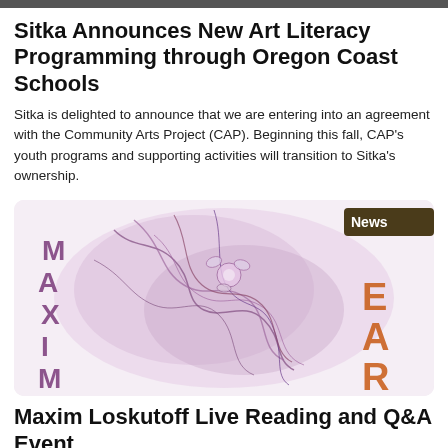Sitka Announces New Art Literacy Programming through Oregon Coast Schools
Sitka is delighted to announce that we are entering into an agreement with the Community Arts Project (CAP). Beginning this fall, CAP's youth programs and supporting activities will transition to Sitka's ownership.
[Figure (illustration): Artistic illustration showing intricate purple and pink figures, with text overlays reading MAXIM on the left and EAR on the right, with a News badge in the top right corner.]
Maxim Loskutoff Live Reading and Q&A Event